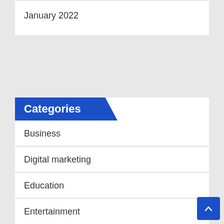January 2022
Categories
Business
Digital marketing
Education
Entertainment
Fashion